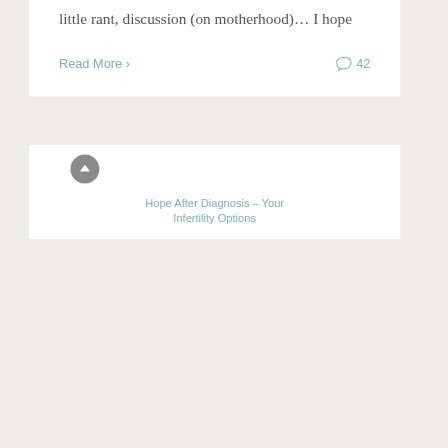little rant, discussion (on motherhood)… I hope
Read More ›
42
Hope After Diagnosis – Your Infertility Options